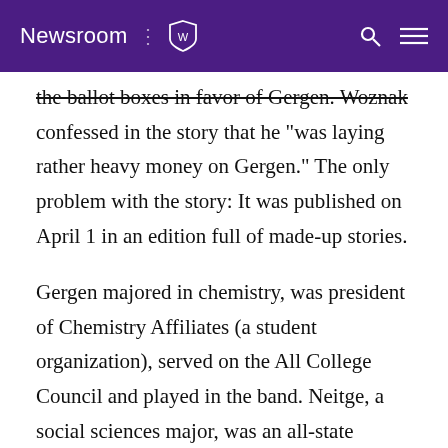Newsroom
the ballot boxes in favor of Gergen. Woznak confessed in the story that he "was laying rather heavy money on Gergen." The only problem with the story: It was published on April 1 in an edition full of made-up stories.
Gergen majored in chemistry, was president of Chemistry Affiliates (a student organization), served on the All College Council and played in the band. Neitge, a social sciences major, was an all-state football player.
1944: John T. Coskran, M.A., Burnsville, Minn.
Coskran actually didn't graduate until 1947, with